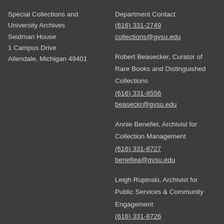Special Collections and University Archives
Seidman House
1 Campus Drive
Allendale, Michigan 49401
Department Contact
(616) 331-2749
collections@gvsu.edu
Robert Beasecker, Curator of Rare Books and Distinguished Collections
(616) 331-8556
beaseckr@gvsu.edu
Annie Benefiel, Archivist for Collection Management
(616) 331-8727
benefiea@gvsu.edu
Leigh Rupinski, Archivist for Public Services & Community Engagement
(616) 331-8726